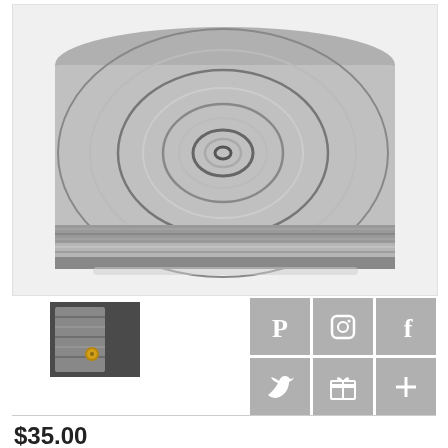[Figure (photo): A folded knitted beanie hat with a wood grain / tree ring pattern in gray and white/silver, shot on white background.]
[Figure (photo): Thumbnail showing close-up detail of the hat with a visible metal snap button.]
[Figure (infographic): Six social media icon buttons in a 3x2 grid: Pinterest, Instagram, Facebook (top row), Twitter, Fancy/gift, Plus/more (bottom row). All icons on gray square backgrounds.]
$35.00